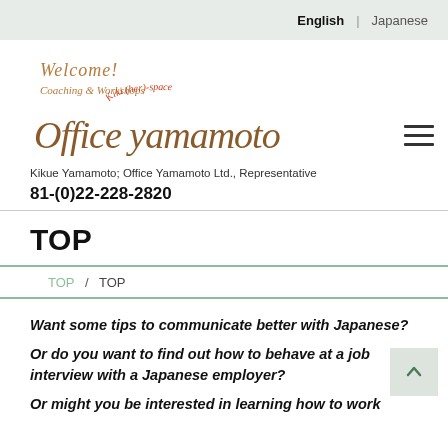English  Japanese
[Figure (logo): Office Yamamoto logo with cursive text: Welcome!, Coaching & Workshops, Kiki (her)-space, Office yamamoto]
Kikue Yamamoto; Office Yamamoto Ltd., Representative
81-(0)22-228-2820
TOP
TOP  /  TOP
Want some tips to communicate better with Japanese?
Or do you want to find out how to behave at a job interview with a Japanese employer?
Or might you be interested in learning how to work